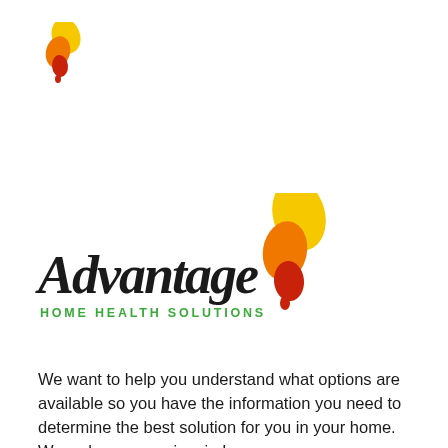[Figure (logo): Small Advantage Home Health Solutions butterfly logo mark in yellow, orange, red]
[Figure (logo): Advantage Home Health Solutions full logo with butterfly graphic in yellow, orange, red and script text 'Advantage' with green 'HOME HEALTH SOLUTIONS' subtitle]
We want to help you understand what options are available so you have the information you need to determine the best solution for you in your home. We welcome your inquiry!